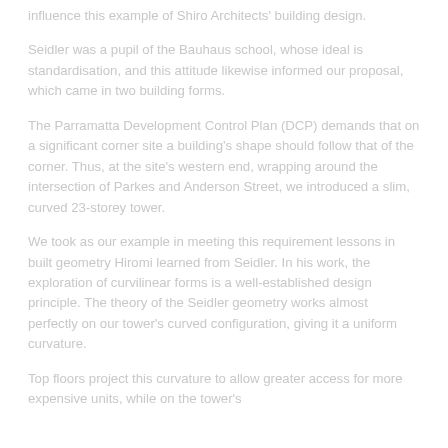influence this example of Shiro Architects' building design.
Seidler was a pupil of the Bauhaus school, whose ideal is standardisation, and this attitude likewise informed our proposal, which came in two building forms.
The Parramatta Development Control Plan (DCP) demands that on a significant corner site a building's shape should follow that of the corner. Thus, at the site's western end, wrapping around the intersection of Parkes and Anderson Street, we introduced a slim, curved 23-storey tower.
We took as our example in meeting this requirement lessons in built geometry Hiromi learned from Seidler. In his work, the exploration of curvilinear forms is a well-established design principle. The theory of the Seidler geometry works almost perfectly on our tower's curved configuration, giving it a uniform curvature.
Top floors project this curvature to allow greater access for more expensive units, while on the tower's